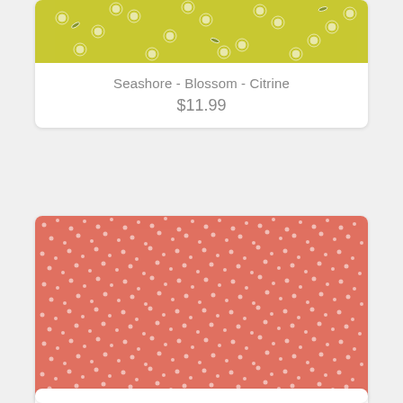[Figure (photo): Yellow-green fabric with white daisy blossom floral pattern — Seashore Blossom Citrine]
Seashore - Blossom - Citrine
$11.99
[Figure (photo): Coral/salmon pink fabric with small white floral pattern — Seashore Harbor Cantalope]
Seashore - Harbor - Cantalope
$11.99